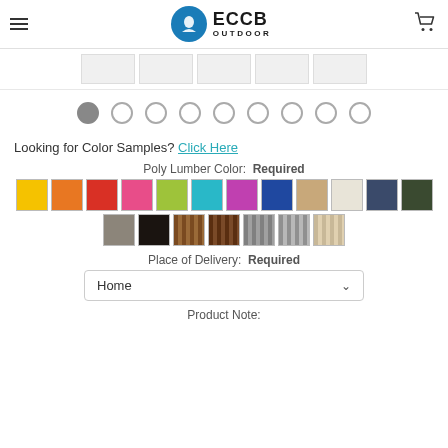ECCB OUTDOOR
[Figure (other): Thumbnail image strip showing 5 product image thumbnails]
[Figure (other): Carousel navigation dots: 9 dots, first one filled/active]
Looking for Color Samples? Click Here
Poly Lumber Color:  Required
[Figure (other): Color swatch grid: row 1 has 12 swatches (yellow, orange, red, pink, lime, teal, purple, blue, tan, white/cream, navy, olive/dark green); row 2 has 7 swatches (taupe/gray, black, medium brown wood, dark brown wood, gray wood, silver gray wood, light tan wood)]
Place of Delivery:  Required
Home
Product Note: